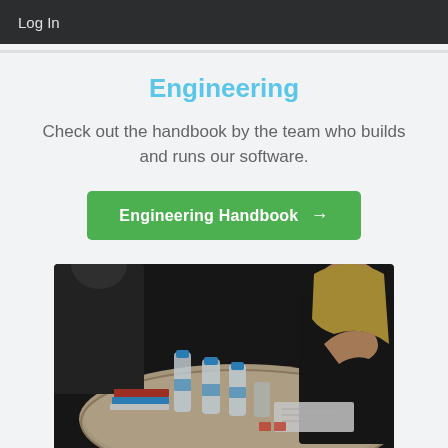Log In
Engineering
Check out the handbook by the team who builds and runs our software.
Engineering Handbook →
[Figure (photo): People sitting around a round table with water bottles, books, and papers on it during a meeting or workshop]